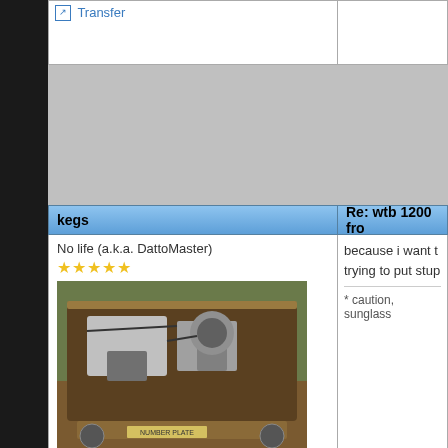Transfer
kegs
Re: wtb 1200 fro
No life (a.k.a. DattoMaster)
[Figure (photo): Photo of a car engine bay, brown/orange classic car with open hood showing engine]
Joined: 2003/1/5 5:40
From campbelltown (sydney) australia
Group: Registered Users
Posts: 1802
OFFLINE
Transfer
because i want t trying to put stup
* caution, sunglass